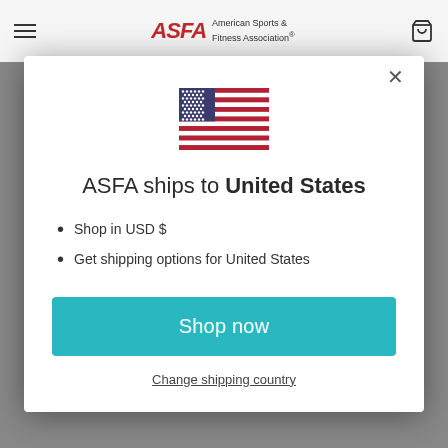ASFA American Sports & Fitness Association
[Figure (illustration): US flag SVG illustration]
ASFA ships to United States
Shop in USD $
Get shipping options for United States
Shop now
Change shipping country